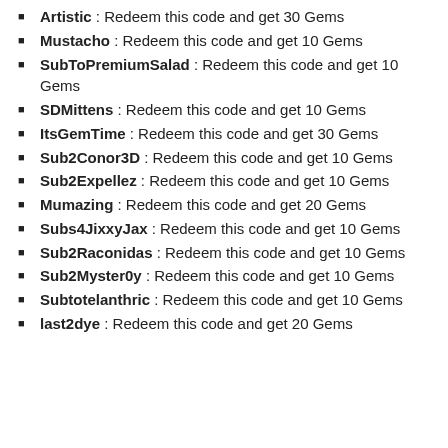Artistic : Redeem this code and get 30 Gems
Mustacho : Redeem this code and get 10 Gems
SubToPremiumSalad : Redeem this code and get 10 Gems
SDMittens : Redeem this code and get 10 Gems
ItsGemTime : Redeem this code and get 30 Gems
Sub2Conor3D : Redeem this code and get 10 Gems
Sub2Expellez : Redeem this code and get 10 Gems
Mumazing : Redeem this code and get 20 Gems
Subs4JixxyJax : Redeem this code and get 10 Gems
Sub2Raconidas : Redeem this code and get 10 Gems
Sub2Myster0y : Redeem this code and get 10 Gems
Subtotelanthric : Redeem this code and get 10 Gems
last2dye : Redeem this code and get 20 Gems